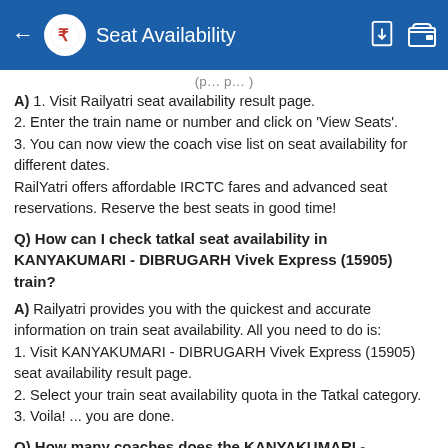Seat Availability
(partial/cut-off text at top)
A) 1. Visit Railyatri seat availability result page.
2. Enter the train name or number and click on 'View Seats'.
3. You can now view the coach vise list on seat availability for different dates.
RailYatri offers affordable IRCTC fares and advanced seat reservations. Reserve the best seats in good time!
Q) How can I check tatkal seat availability in KANYAKUMARI - DIBRUGARH Vivek Express (15905) train?
A) Railyatri provides you with the quickest and accurate information on train seat availability. All you need to do is:
1. Visit KANYAKUMARI - DIBRUGARH Vivek Express (15905) seat availability result page.
2. Select your train seat availability quota in the Tatkal category.
3. Voila! ... you are done.
Q) How many coaches does the KANYAKUMARI - DIBRUGARH